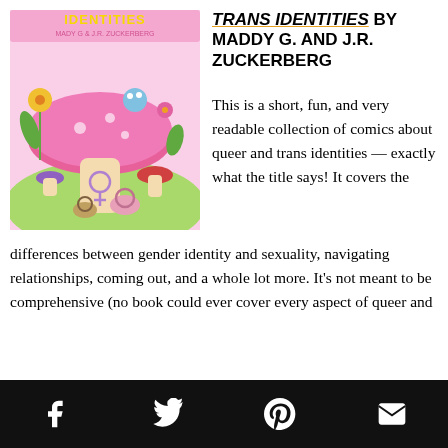[Figure (illustration): Book cover of a comic collection featuring colorful mushrooms, snails, flowers, and fantasy creatures in pink and green tones. Title reads 'Identities' by Mady G & J.R. Zuckerberg.]
TRANS IDENTITIES BY MADDY G. AND J.R. ZUCKERBERG
This is a short, fun, and very readable collection of comics about queer and trans identities — exactly what the title says! It covers the differences between gender identity and sexuality, navigating relationships, coming out, and a whole lot more. It's not meant to be comprehensive (no book could ever cover every aspect of queer and
Social share icons: Facebook, Twitter, Pinterest, Email